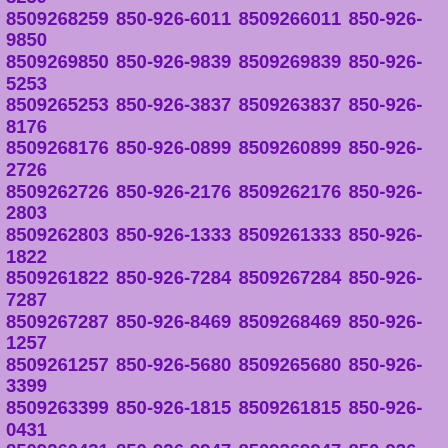8509265542 850-926-0711 8509260711 850-926-5892 8509265892 850-926-1309 8509261309 850-926-7063 8509267063 850-926-2600 8509262600 850-926-7469 8509267469 850-926-3311 8509263311 850-926-4707 8509264707 850-926-2791 8509262791 850-926-8259 8509268259 850-926-6011 8509266011 850-926-9850 8509269850 850-926-9839 8509269839 850-926-5253 8509265253 850-926-3837 8509263837 850-926-8176 8509268176 850-926-0899 8509260899 850-926-2726 8509262726 850-926-2176 8509262176 850-926-2803 8509262803 850-926-1333 8509261333 850-926-1822 8509261822 850-926-7284 8509267284 850-926-7287 8509267287 850-926-8469 8509268469 850-926-1257 8509261257 850-926-5680 8509265680 850-926-3399 8509263399 850-926-1815 8509261815 850-926-0431 8509260431 850-926-9947 8509269947 850-926-3922 8509263922 850-926-0211 8509260211 850-926-2132 8509262132 850-926-2757 8509262757 850-926-9003 8509269003 850-926-5396 8509265396 850-926-1245 8509261245 850-926-1091 8509261091 850-926-0189